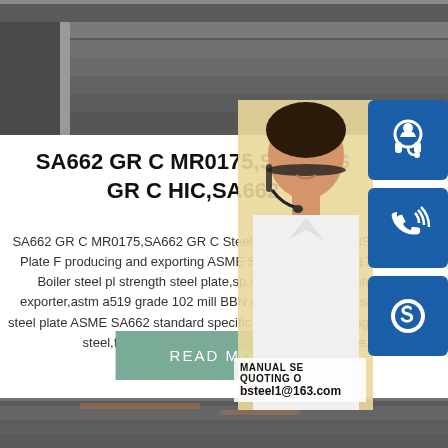[Figure (photo): Steel plates stacked in a warehouse/industrial setting, dark metallic tones]
[Figure (photo): Young Asian woman with headset smiling, serving as customer service representative, overlaid with blue icon buttons for headset, phone, and Skype, and text showing MANUAL SERVICE, QUOTING ONLINE, and email bsteel1@163.com]
SA662 GR C MR0175,SA662 GR C HIC,SA662
SA662 GR C MR0175,SA662 GR C Steel GR C NACE .BBNSTEEL Bolier Plate F producing and exporting ASME SA662 NACE MR0175,MR0103 Boiler steel pl strength steel plate,sp.infoprime qualityp steel plate exporter,astm a519 grade 102 mill BBN A283C steel.asme sa662 grade steel plate ASME SA662 standard specif plates,carbon manganese silicon steel,for moderate and lower temperature service.
[Figure (photo): Bottom strip showing partial image of steel/industrial material]